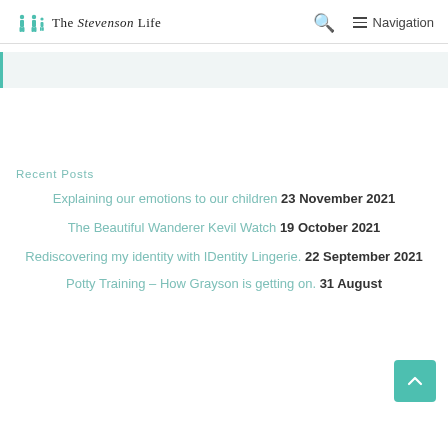The Stevenson Life | Search | Navigation
[Figure (other): Light teal/grey advertisement or header bar with left border accent]
Recent Posts
Explaining our emotions to our children 23 November 2021
The Beautiful Wanderer Kevil Watch 19 October 2021
Rediscovering my identity with IDentity Lingerie. 22 September 2021
Potty Training – How Grayson is getting on. 31 August